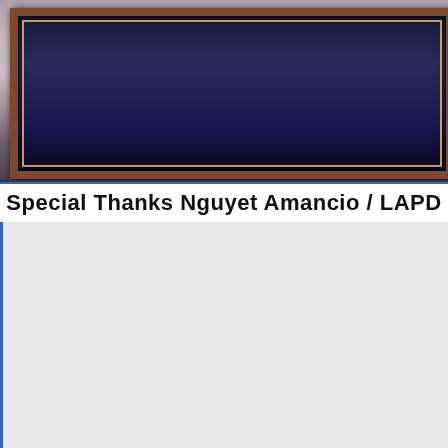[Figure (photo): Framed award displayed in dark wood frame with dark blue/navy background, partially visible at top of page]
Special Thanks Nguyet Amancio / LAPD
[Figure (photo): LAPD Purple Heart award display showing a City of Los Angeles Police Department Purple Heart certificate awarded to Keith Du Puis, framed in black frame with purple mat. Second certificate partially visible at bottom right. Names FADI C, RICHARD, ENRIQU visible on right side.]